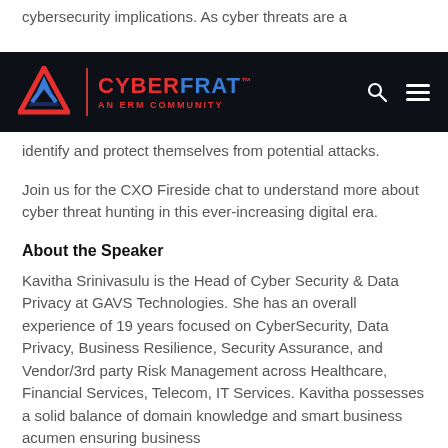cybersecurity implications. As cyber threats are a
[Figure (logo): CyberFrat logo with triangular icon in red and blue, text 'CYBERFRAT AN ERM COMMUNITY' on dark navy background bar with search and menu icons]
identify and protect themselves from potential attacks.
Join us for the CXO Fireside chat to understand more about cyber threat hunting in this ever-increasing digital era.
About the Speaker
Kavitha Srinivasulu is the Head of Cyber Security & Data Privacy at GAVS Technologies. She has an overall experience of 19 years focused on CyberSecurity, Data Privacy, Business Resilience, Security Assurance, and Vendor/3rd party Risk Management across Healthcare, Financial Services, Telecom, IT Services. Kavitha possesses a solid balance of domain knowledge and smart business acumen ensuring business